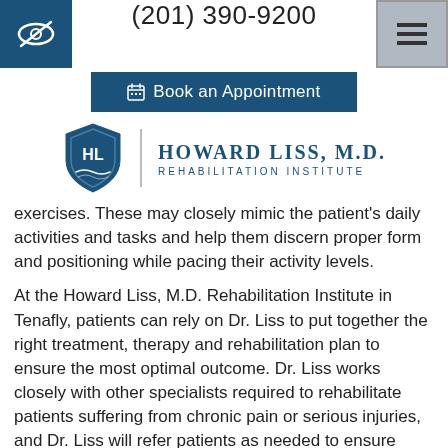(201) 390-9200
Book an Appointment
[Figure (logo): Howard Liss, M.D. Rehabilitation Institute shield logo with HL monogram]
exercises. These may closely mimic the patient's daily activities and tasks and help them discern proper form and positioning while pacing their activity levels.
At the Howard Liss, M.D. Rehabilitation Institute in Tenafly, patients can rely on Dr. Liss to put together the right treatment, therapy and rehabilitation plan to ensure the most optimal outcome. Dr. Liss works closely with other specialists required to rehabilitate patients suffering from chronic pain or serious injuries, and Dr. Liss will refer patients as needed to ensure appropriate treatment. With extensive education and exposure to a variety of conditions that affect the cervical and lumbar spine, bones, nerves, joints, ligaments, tendons,